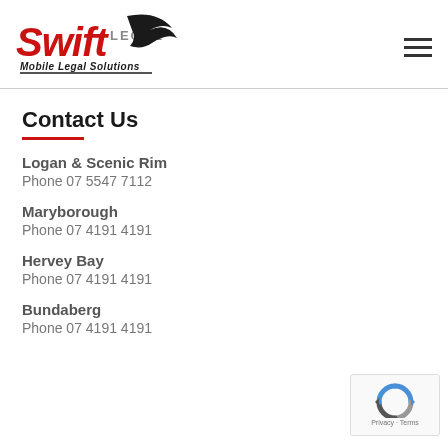[Figure (logo): Swift Legal Mobile Legal Solutions logo with bird/swoosh graphic]
Contact Us
Logan & Scenic Rim
Phone 07 5547 7112
Maryborough
Phone 07 4191 4191
Hervey Bay
Phone 07 4191 4191
Bundaberg
Phone 07 4191 4191